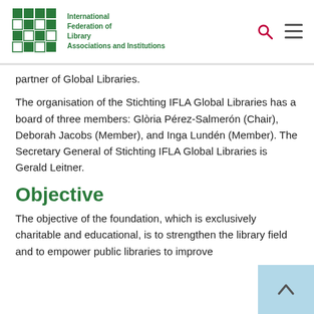International Federation of Library Associations and Institutions
partner of Global Libraries.
The organisation of the Stichting IFLA Global Libraries has a board of three members: Glòria Pérez-Salmerón (Chair), Deborah Jacobs (Member), and Inga Lundén (Member). The Secretary General of Stichting IFLA Global Libraries is Gerald Leitner.
Objective
The objective of the foundation, which is exclusively charitable and educational, is to strengthen the library field and to empower public libraries to improve